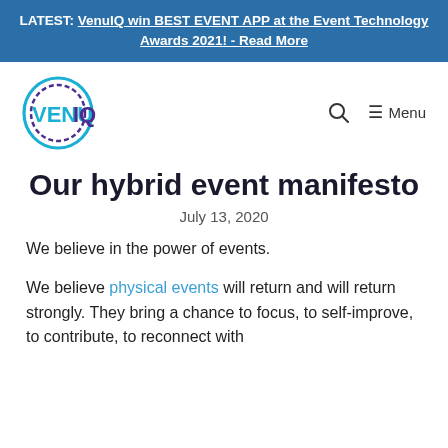LATEST: VenuIQ win BEST EVENT APP at the Event Technology Awards 2021! - Read More
[Figure (logo): VenuIQ logo with circular ring graphic and text VENUIQ in cyan and purple]
Our hybrid event manifesto
July 13, 2020
We believe in the power of events.
We believe physical events will return and will return strongly. They bring a chance to focus, to self-improve, to contribute, to reconnect with